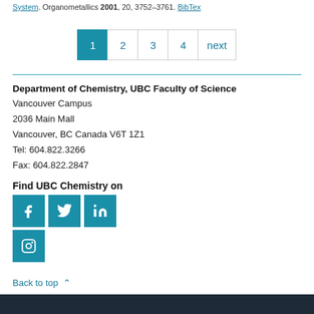System. Organometallics 2001, 20, 3752-3761. BibTex
1 2 3 4 next
Department of Chemistry, UBC Faculty of Science
Vancouver Campus
2036 Main Mall
Vancouver, BC Canada V6T 1Z1
Tel: 604.822.3266
Fax: 604.822.2847
Find UBC Chemistry on
[Figure (logo): Social media icons: Facebook, Twitter, LinkedIn, Instagram]
Back to top ∧
Dark footer bar